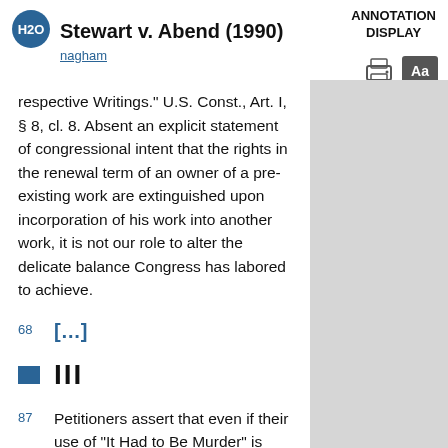Stewart v. Abend (1990)
nagham
respective Writings." U.S. Const., Art. I, § 8, cl. 8. Absent an explicit statement of congressional intent that the rights in the renewal term of an owner of a pre-existing work are extinguished upon incorporation of his work into another work, it is not our role to alter the delicate balance Congress has labored to achieve.
[...]
III
87  Petitioners assert that even if their use of "It Had to Be Murder" is